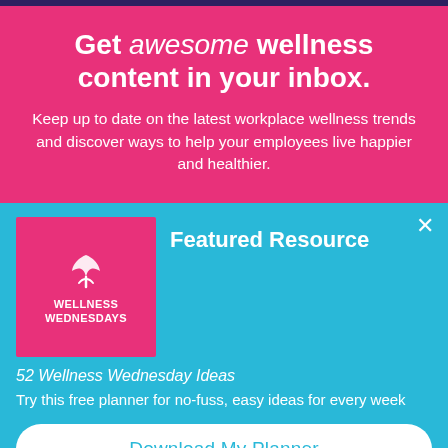Get awesome wellness content in your inbox.
Keep up to date on the latest workplace wellness trends and discover ways to help your employees live happier and healthier.
Featured Resource
[Figure (logo): Pink square with a leaf/lotus icon and text WELLNESS WEDNESDAYS]
52 Wellness Wednesday Ideas
Try this free planner for no-fuss, easy ideas for every week
Download My Planner